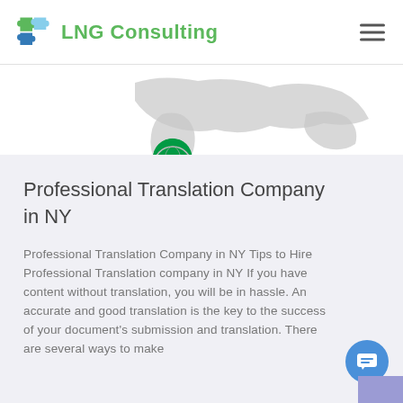LNG Consulting
[Figure (illustration): World map illustration with Ethiopian flag globe icon positioned over Africa region]
Professional Translation Company in NY
Professional Translation Company in NY Tips to Hire Professional Translation company in NY If you have content without translation, you will be in hassle. An accurate and good translation is the key to the success of your document's submission and translation. There are several ways to make